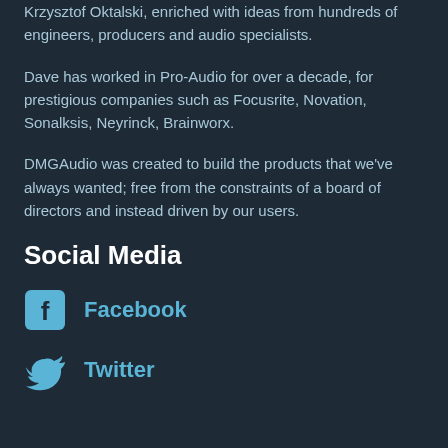Krzysztof Oktalski, enriched with ideas from hundreds of engineers, producers and audio specialists.
Dave has worked in Pro-Audio for over a decade, for prestigious companies such as Focusrite, Novation, Sonalksis, Neyrinck, Brainworx.
DMGAudio was created to build the products that we've always wanted; free from the constraints of a board of directors and instead driven by our users.
Social Media
Facebook
Twitter